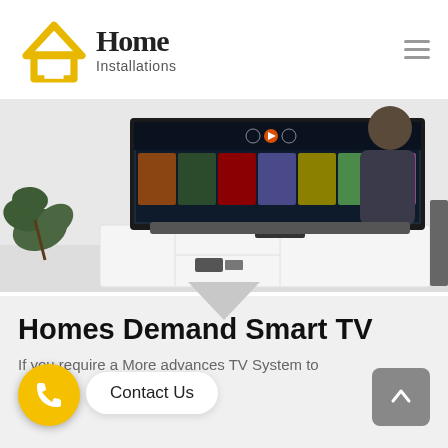[Figure (logo): Home Installations logo with yellow house icon and text]
[Figure (photo): A flat-screen TV mounted/placed on a white TV cabinet with a person standing behind it, a green plant on the left and a speaker on the right]
Homes Demand Smart TV
If you require a More advances TV System to
Contact Us